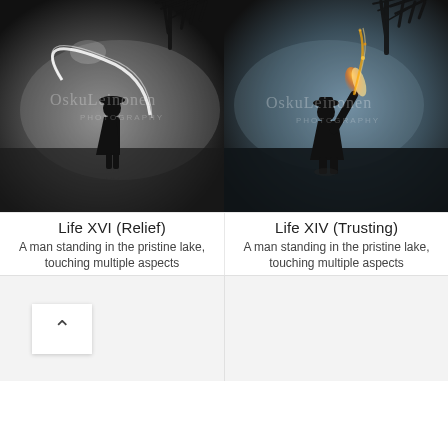[Figure (photo): Black and white photo of a man standing in a misty lake, with a glowing light arc traced around him. Trees visible at top right. Watermark: OskuLeinonen PHOTOGRAPHY.]
[Figure (photo): Dark moody photo of a man standing in a misty lake, holding a sparkling/burning flare upward. Trees visible at top right. Watermark: OskuLeinonen PHOTOGRAPHY.]
Life XVI (Relief)
A man standing in the pristine lake, touching multiple aspects
Life XIV (Trusting)
A man standing in the pristine lake, touching multiple aspects
[Figure (other): Light gray empty card placeholder with a white up-arrow button (chevron icon) in the lower-left area.]
[Figure (other): Light gray empty card placeholder.]